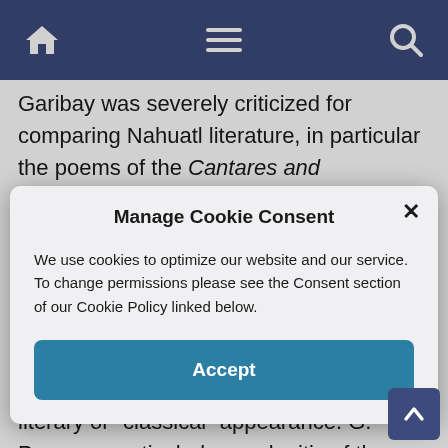Navigation bar with home, menu, and search icons
Garibay was severely criticized for comparing Nahuatl literature, in particular the poems of the Cantares and Romances, to Classical Greek and
Manage Cookie Consent

We use cookies to optimize our website and our service. To change permissions please see the Consent section of our Cookie Policy linked below.

Accept
appearance of a more sophisticated literary or “classical” appearance. G. Payas, a particularly vocal critic of the Garibay/Leon-Portilla interpretation of the Nahuatl song-poems, declares that when Garibay translating these texts he was actually “...creating a